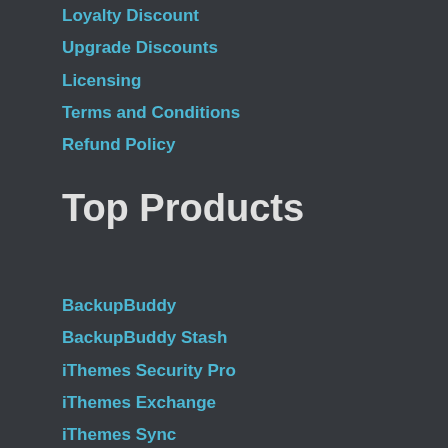Loyalty Discount
Upgrade Discounts
Licensing
Terms and Conditions
Refund Policy
Top Products
BackupBuddy
BackupBuddy Stash
iThemes Security Pro
iThemes Exchange
iThemes Sync
iThemes Builder
All Plugins
Plugin Suite
Toolkit